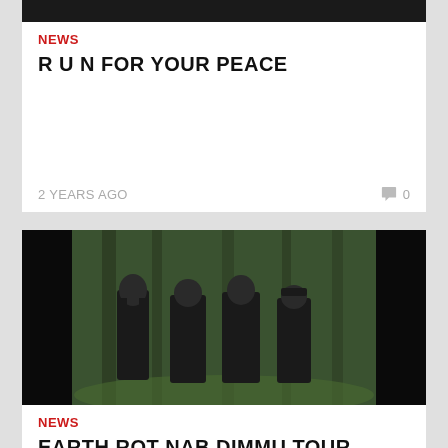[Figure (photo): Top dark image strip partially visible at top of page]
NEWS
R U N FOR YOUR PEACE
2 YEARS AGO
0
[Figure (photo): Band photo of four members standing in a mossy forest, wearing dark clothing]
NEWS
EARTH ROT NAB DIMMU TOUR